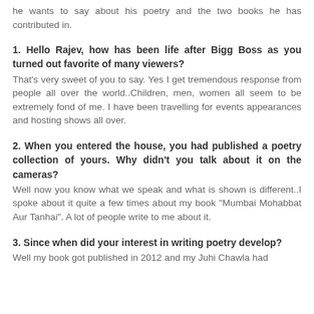he wants to say about his poetry and the two books he has contributed in.
1. Hello Rajev, how has been life after Bigg Boss as you turned out favorite of many viewers?
That's very sweet of you to say. Yes I get tremendous response from people all over the world..Children, men, women all seem to be extremely fond of me. I have been travelling for events appearances and hosting shows all over.
2. When you entered the house, you had published a poetry collection of yours. Why didn't you talk about it on the cameras?
Well now you know what we speak and what is shown is different..I spoke about it quite a few times about my book "Mumbai Mohabbat Aur Tanhai". A lot of people write to me about it.
3. Since when did your interest in writing poetry develop?
Well my book got published in 2012 and my Juhi Chawla had